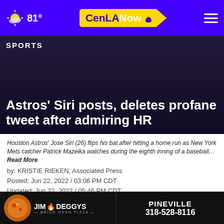81° CenLANow
SPORTS
Astros' Siri posts, deletes profane tweet after admiring HR
Houston Astros' Jose Siri (26) flips his bat after hitting a home run as New York Mets catcher Patrick Mazeika watches during the eighth inning of a baseball… Read More
by: KRISTIE RIEKEN, Associated Press
Posted: Jun 22, 2022 / 03:06 PM CDT
Updated: Jun 22, 2022 / 05:46 PM CDT
SHARE
[Figure (advertisement): Jim Deggys Brick Oven Pizza - Pineville 318-528-8116 advertisement banner]